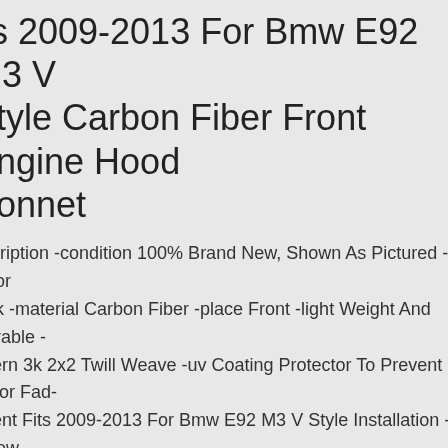its 2009-2013 For Bmw E92 M3 V Style Carbon Fiber Front Engine Hood Bonnet
escription -condition 100% Brand New, Shown As Pictured -color lack -material Carbon Fiber -place Front -light Weight And Durable -attern 3k 2x2 Twill Weave -uv Coating Protector To Prevent Color Fad- tment Fits 2009-2013 For Bmw E92 M3 V Style Installation -screw stallation, Professional Installation Is Highly Recommended -give ur Car An Upgrade And Customized Looks Note -no Washing Or ater The Target Surface within 48 Hours -please Double Check With ur Customer Service Before You Purchase.
or Hyundai Veloster 2011-16 Dry Carbon Fiber Wheel Eyebrow Arches ender Flares